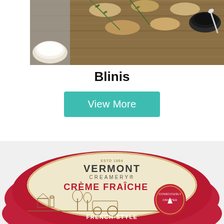[Figure (photo): Top-down view of blinis on a wooden cutting board with rosemary sprigs, a small bowl of white cream, and a small jar of black caviar with a spoon]
Blinis
[Figure (other): View More button with teal/turquoise background and white text]
[Figure (photo): Vermont Creamery Crème Fraîche container lid — circular red lid with cream-colored label reading ESTD 1984 VERMONT CREAMERY, CRÈME FRAÎCHE in red letters, farm scene illustration, CONSCIOUSLY CRAFTED badge, FRENCH-STYLE CULTURED CREAM at bottom]